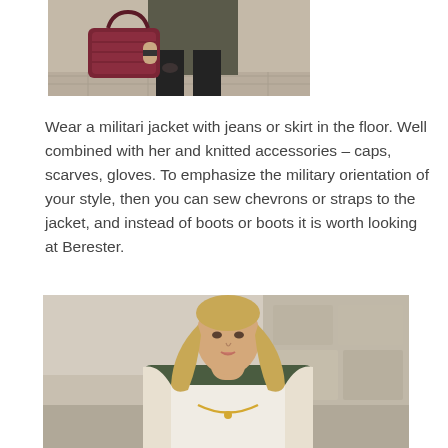[Figure (photo): Person carrying a dark burgundy/brown leather handbag, wearing black ripped jeans and a dark coat, photographed from waist down on a stone/cobblestone background.]
Wear a militari jacket with jeans or skirt in the floor. Well combined with her and knitted accessories – caps, scarves, gloves. To emphasize the military orientation of your style, then you can sew chevrons or straps to the jacket, and instead of boots or boots it is worth looking at Berester.
[Figure (photo): Young woman with long blonde hair wearing a green military-style jacket with cream/white shearling lining and a white top with a necklace, photographed against a blurred stone wall background.]